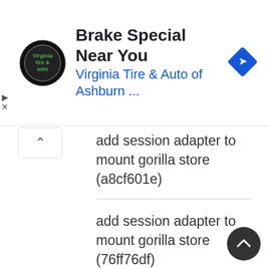[Figure (screenshot): Ad banner for Virginia Tire & Auto of Ashburn with circular logo, title 'Brake Special Near You', subtitle 'Virginia Tire & Auto of Ashburn ...', and a blue diamond navigation icon]
add session adapter to mount gorilla store (a8cf601e)
add session adapter to mount gorilla store (76ff76df)
Bug Fixes
add expiry date/time to token strategy (f509a3b9)